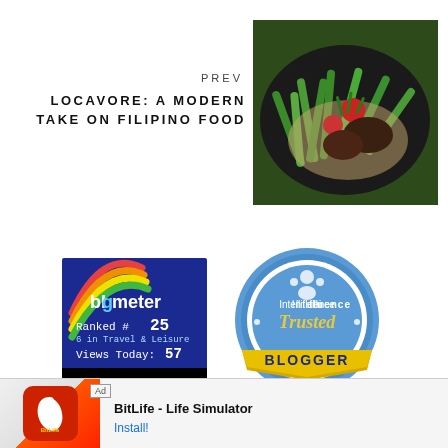PREV
LOCAVORE: A MODERN TAKE ON FILIPINO FOOD
[Figure (photo): Filipino food dish in a black pan with green beans, tomatoes, and sauce]
[Figure (logo): Blogmeter badge: Ranked #25, 6 in Travel & Leisure, Views Today: 57, CHECK AND VISIT]
[Figure (logo): Intellifluence Trusted Blogger badge - blue circular badge with gold ribbon]
Ad  BitLife - Life Simulator  Install!